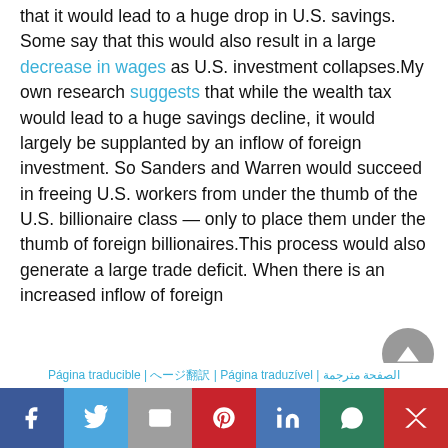that it would lead to a huge drop in U.S. savings. Some say that this would also result in a large decrease in wages as U.S. investment collapses.My own research suggests that while the wealth tax would lead to a huge savings decline, it would largely be supplanted by an inflow of foreign investment. So Sanders and Warren would succeed in freeing U.S. workers from under the thumb of the U.S. billionaire class — only to place them under the thumb of foreign billionaires.This process would also generate a large trade deficit. When there is an increased inflow of foreign
Página traducible | ページ翻訳 | Página traduzível | الصفحة مترجمة